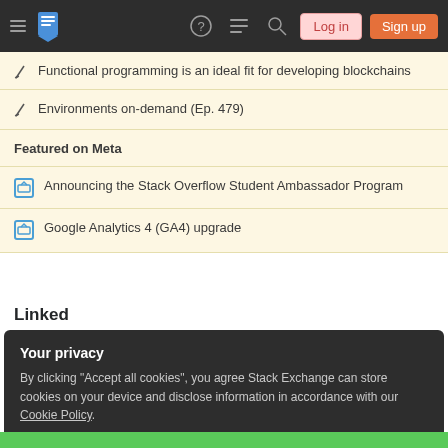Stack Exchange navigation bar with hamburger menu, logo, help, chat, search, Log in, Sign up
Functional programming is an ideal fit for developing blockchains
Environments on-demand (Ep. 479)
Featured on Meta
Announcing the Stack Overflow Student Ambassador Program
Google Analytics 4 (GA4) upgrade
Linked
Your privacy
By clicking "Accept all cookies", you agree Stack Exchange can store cookies on your device and disclose information in accordance with our Cookie Policy.
Accept all cookies | Customize settings